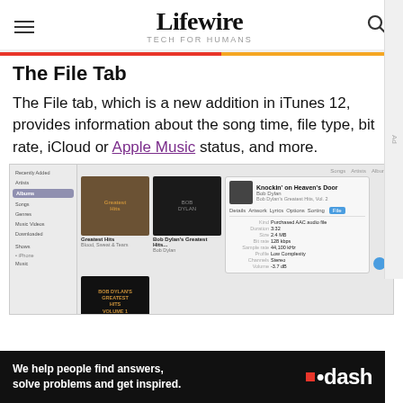Lifewire — TECH FOR HUMANS
The File Tab
The File tab, which is a new addition in iTunes 12, provides information about the song time, file type, bit rate, iCloud or Apple Music status, and more.
[Figure (screenshot): iTunes 12 window showing albums and the File tab detail panel for 'Knockin' on Heaven's Door' by Bob Dylan, with file info including Purchased AAC audio file, duration 3:32, size 2.4 MB, bit rate 128 kbps, sample rate 44,100 kHz, profile Low Complexity, channels Stereo]
[Figure (advertisement): dash advertisement banner: 'We help people find answers, solve problems and get inspired.' with dash logo]